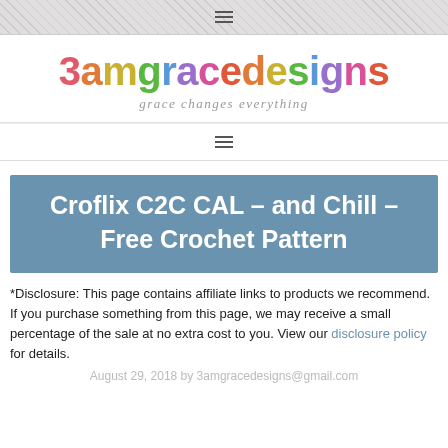☰ (navigation menu icon)
[Figure (logo): 3amgracedesigns logo with colorful lettering and tagline 'grace changes everything' in grey italic]
☰ (navigation menu icon)
Croflix C2C CAL – and Chill – Free Crochet Pattern
*Disclosure: This page contains affiliate links to products we recommend. If you purchase something from this page, we may receive a small percentage of the sale at no extra cost to you. View our disclosure policy for details.
August 29, 2018 by 3amgracedesigns@gmail.com